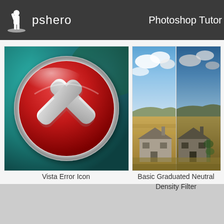pshero   Photoshop Tutor
[Figure (illustration): Vista Error Icon - red circle with white X cross mark on teal/dark background]
Vista Error Icon
[Figure (photo): Basic Graduated Neutral Density Filter - split image of abandoned wooden house in a field, one side with normal exposure and one side with darkened sky]
Basic Graduated Neutral Density Filter